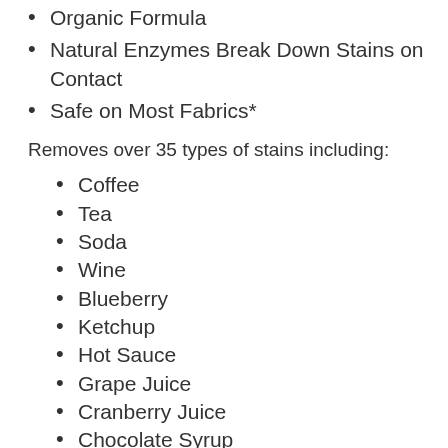Organic Formula
Natural Enzymes Break Down Stains on Contact
Safe on Most Fabrics*
Removes over 35 types of stains including:
Coffee
Tea
Soda
Wine
Blueberry
Ketchup
Hot Sauce
Grape Juice
Cranberry Juice
Chocolate Syrup
Tomato Sauce
BBQ Sauce